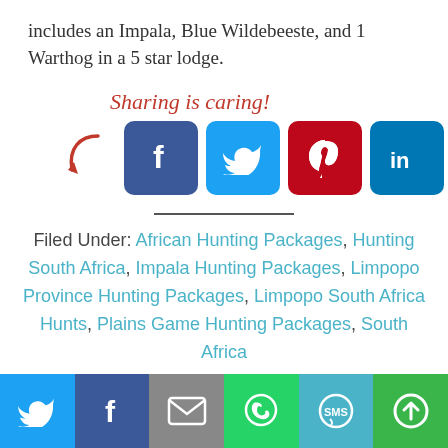includes an Impala, Blue Wildebeeste, and 1 Warthog in a 5 star lodge.
[Figure (infographic): Sharing is caring! social share buttons: Facebook (blue), Twitter (light blue), Pinterest (red), LinkedIn (blue), Email (grey), ShareThis (green) with a red arrow pointing to them]
Filed Under: African Hunting Packages, Hunting South Africa, Impala Hunting Packages, Limpopo Province Hunting Packages, Limpopo South Africa Hunts, Plains Game Hunting Packages, South Africa
[Figure (infographic): Bottom share bar with Twitter, Facebook, Email, WhatsApp, SMS, and ShareThis icons]